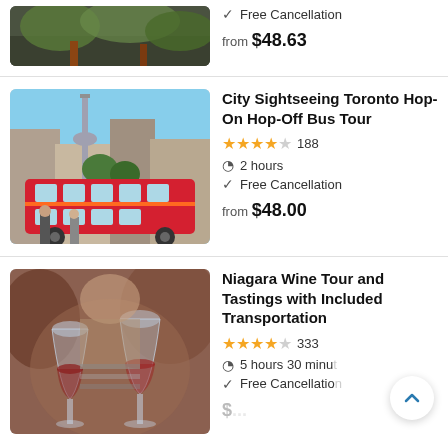[Figure (photo): Partial view of a tour listing image (foliage/trees visible at top)]
✓ Free Cancellation
from $48.63
[Figure (photo): Red double-decker hop-on hop-off bus on a Toronto city street with CN Tower visible in background]
City Sightseeing Toronto Hop-On Hop-Off Bus Tour
★★★★☆ 188
⏱ 2 hours
✓ Free Cancellation
from $48.00
[Figure (photo): People clinking wine glasses at a wine tasting event, close-up]
Niagara Wine Tour and Tastings with Included Transportation
★★★★☆ 333
⏱ 5 hours 30 minu...
✓ Free Cancellation
$...